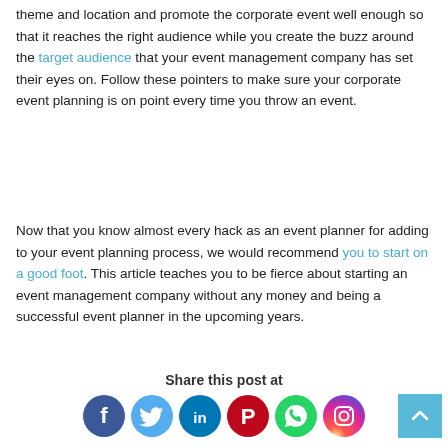theme and location and promote the corporate event well enough so that it reaches the right audience while you create the buzz around the target audience that your event management company has set their eyes on. Follow these pointers to make sure your corporate event planning is on point every time you throw an event.
Now that you know almost every hack as an event planner for adding to your event planning process, we would recommend you to start on a good foot. This article teaches you to be fierce about starting an event management company without any money and being a successful event planner in the upcoming years.
Share this post at
[Figure (infographic): Row of six social media icon buttons: Facebook (dark blue circle with f), Twitter (light blue circle with bird), LinkedIn (teal circle with in), Pinterest (red circle with P), WhatsApp (green circle with phone), Instagram (gradient purple/orange circle with camera)]